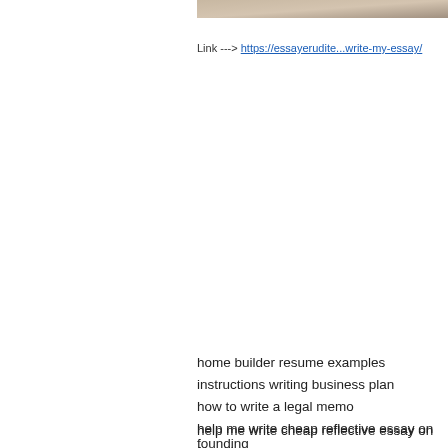[Figure (photo): Partial image strip visible at top right of page]
Link ---> https://essayerudite...write-my-essay/
home builder resume examples
instructions writing business plan
how to write a legal memo
help me write cheap reflective essay on founding
how to write a communication strategy